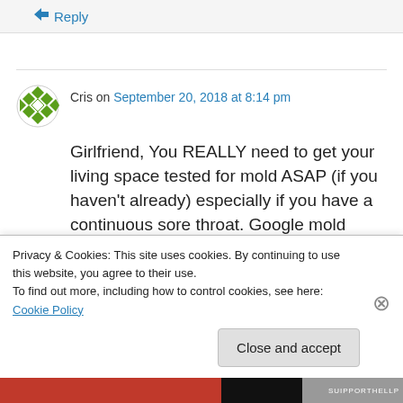↳ Reply
Cris on September 20, 2018 at 8:14 pm
Girlfriend, You REALLY need to get your living space tested for mold ASAP (if you haven't already) especially if you have a continuous sore throat. Google mold illness or mycotoxin illness
Privacy & Cookies: This site uses cookies. By continuing to use this website, you agree to their use.
To find out more, including how to control cookies, see here: Cookie Policy
Close and accept